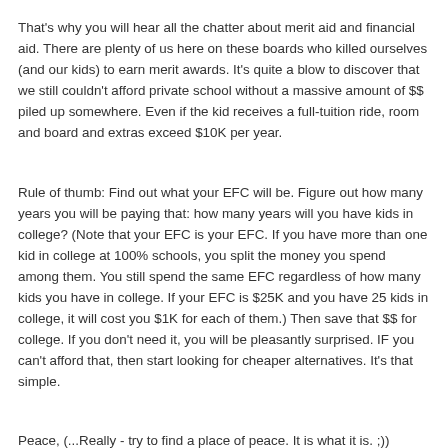That's why you will hear all the chatter about merit aid and financial aid. There are plenty of us here on these boards who killed ourselves (and our kids) to earn merit awards. It's quite a blow to discover that we still couldn't afford private school without a massive amount of $$ piled up somewhere. Even if the kid receives a full-tuition ride, room and board and extras exceed $10K per year.
Rule of thumb: Find out what your EFC will be. Figure out how many years you will be paying that: how many years will you have kids in college? (Note that your EFC is your EFC. If you have more than one kid in college at 100% schools, you split the money you spend among them. You still spend the same EFC regardless of how many kids you have in college. If your EFC is $25K and you have 25 kids in college, it will cost you $1K for each of them.) Then save that $$ for college. If you don't need it, you will be pleasantly surprised. IF you can't afford that, then start looking for cheaper alternatives. It's that simple.
Peace, (...Really - try to find a place of peace. It is what it is. ;))